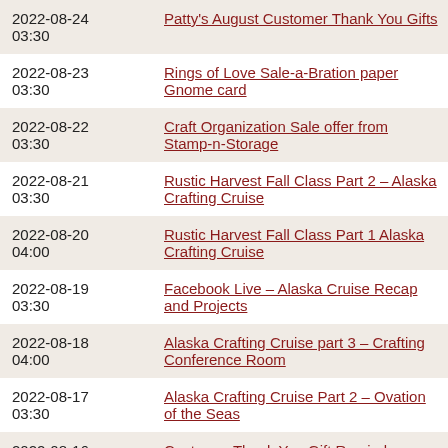| Date | Title |
| --- | --- |
| 2022-08-24
03:30 | Patty's August Customer Thank You Gifts |
| 2022-08-23
03:30 | Rings of Love Sale-a-Bration paper Gnome card |
| 2022-08-22
03:30 | Craft Organization Sale offer from Stamp-n-Storage |
| 2022-08-21
03:30 | Rustic Harvest Fall Class Part 2 – Alaska Crafting Cruise |
| 2022-08-20
04:00 | Rustic Harvest Fall Class Part 1 Alaska Crafting Cruise |
| 2022-08-19
03:30 | Facebook Live – Alaska Cruise Recap and Projects |
| 2022-08-18
04:00 | Alaska Crafting Cruise part 3 – Crafting Conference Room |
| 2022-08-17
03:30 | Alaska Crafting Cruise Part 2 – Ovation of the Seas |
| 2022-08-16
03:30 | Customer Thank You Gift Reminder |
| 2022-08-15
04:00 | Alaska Crafting Cruise Part 1 – Seattle |
| 2022-08-14
 | Mini Pocket Envelope Die with |